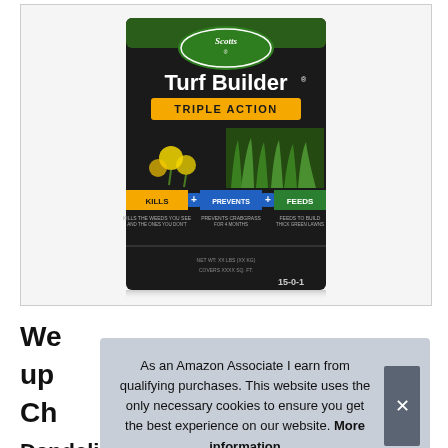[Figure (photo): Scotts Turf Builder Triple Action fertilizer bag product photo on light background. Bag is dark/black with green Scotts logo oval at top, 'Turf Builder' in large white text, 'TRIPLE ACTION' in yellow banner. Shows dandelions and grass imagery. Three colored bars: yellow 'KILLS', blue 'PREVENTS', green 'FEEDS'. Bottom shows '15-0-1' formula.]
We... up... Ch...
As an Amazon Associate I earn from qualifying purchases. This website uses the only necessary cookies to ensure you get the best experience on our website. More information